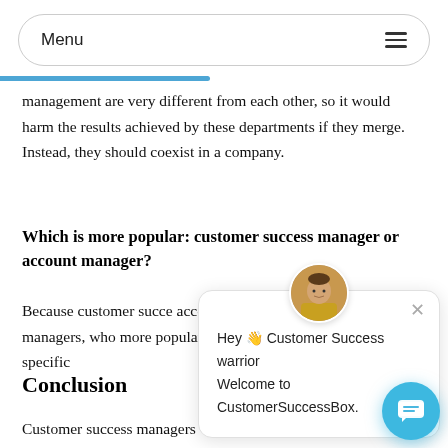Menu
management are very different from each other, so it would harm the results achieved by these departments if they merge. Instead, they should coexist in a company.
Which is more popular: customer success manager or account manager?
Because customer succe... account managers, who... more popular in specific...
[Figure (screenshot): Chat popup widget with avatar showing a Star Trek-style character, a close button (×), and text: 'Hey 👋 Customer Success warrior Welcome to CustomerSuccessBox.']
Conclusion
Customer success managers vs account managers end...